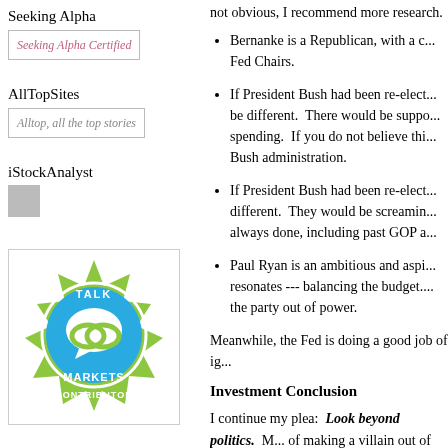Seeking Alpha
[Figure (logo): Seeking Alpha Certified badge image placeholder]
AllTopSites
[Figure (logo): Alltop, all the top stories badge image placeholder]
iStockAnalyst
[Figure (logo): iStockAnalyst small grey square logo]
[Figure (logo): Talk Markets Contributor circular badge]
[Figure (logo): Investing.com Contributor badge]
Disclaimer
Copyright 2005-2014
Bernanke is a Republican, with a c... Fed Chairs.
If President Bush had been re-elect... be different. There would be suppo... spending. If you do not believe thi... Bush administration.
If President Bush had been re-elect... different. They would be screamin... always done, including past GOP a...
Paul Ryan is an ambitious and aspi... resonates --- balancing the budget.... the party out of power.
Meanwhile, the Fed is doing a good job of ig...
Investment Conclusion
I continue my plea: Look beyond politics. M... of making a villain out of the Fed.
The Fed has a dual mandate including both p... official statement:
The Congress established two key ob...